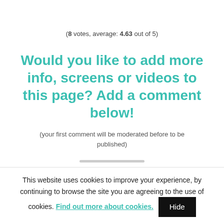(8 votes, average: 4.63 out of 5)
Would you like to add more info, screens or videos to this page? Add a comment below!
(your first comment will be moderated before to be published)
This website uses cookies to improve your experience, by continuing to browse the site you are agreeing to the use of cookies. Find out more about cookies.